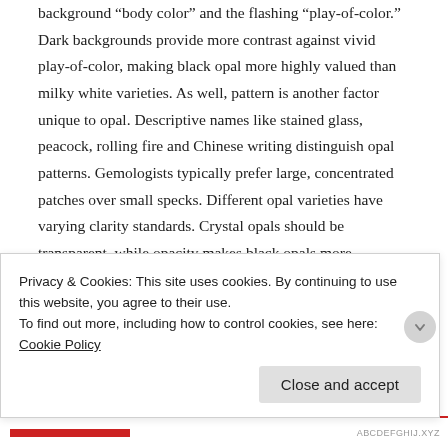background “body color” and the flashing “play-of-color.” Dark backgrounds provide more contrast against vivid play-of-color, making black opal more highly valued than milky white varieties. As well, pattern is another factor unique to opal. Descriptive names like stained glass, peacock, rolling fire and Chinese writing distinguish opal patterns. Gemologists typically prefer large, concentrated patches over small specks. Different opal varieties have varying clarity standards. Crystal opals should be transparent, while opacity makes black opals more valuable. A cloudy, milky haze lowers any opal’s value, and may indicate instability. Fine opals are often cut into irregular shapes to emphasize play-
Privacy & Cookies: This site uses cookies. By continuing to use this website, you agree to their use.
To find out more, including how to control cookies, see here: Cookie Policy
Close and accept